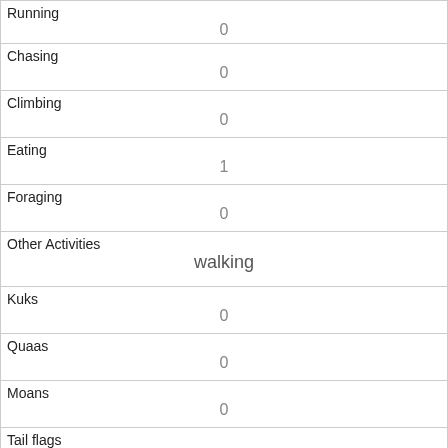| Running | 0 |
| Chasing | 0 |
| Climbing | 0 |
| Eating | 1 |
| Foraging | 0 |
| Other Activities | walking |
| Kuks | 0 |
| Quaas | 0 |
| Moans | 0 |
| Tail flags | 0 |
| Tail twitches |  |